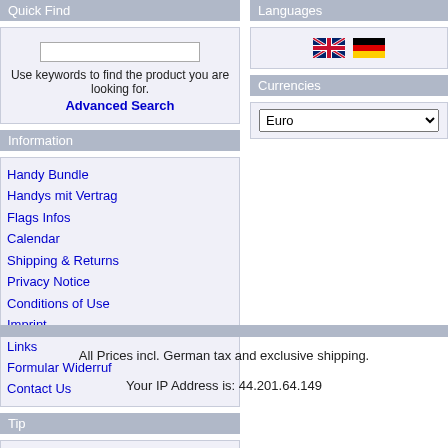Quick Find
Use keywords to find the product you are looking for.
Advanced Search
Information
Handy Bundle
Handys mit Vertrag
Flags Infos
Calendar
Shipping & Returns
Privacy Notice
Conditions of Use
Imprint
Links
Formular Widerruf
Contact Us
Tip
Handy ohne Schufa
Languages
[Figure (illustration): UK flag and German flag icons for language selection]
Currencies
Euro
All Prices incl. German tax and exclusive shipping.
Your IP Address is: 44.201.64.149